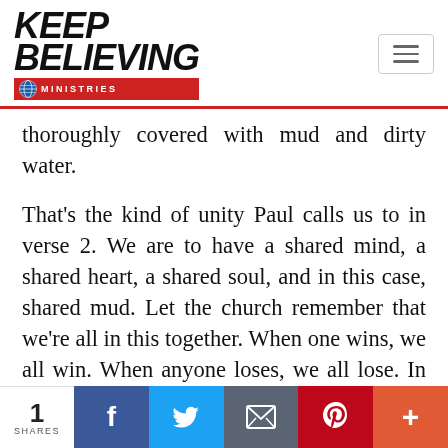Keep Believing Ministries — navigation header
thoroughly covered with mud and dirty water.
That's the kind of unity Paul calls us to in verse 2. We are to have a shared mind, a shared heart, a shared soul, and in this case, shared mud. Let the church remember that we're all in this together. When one wins, we all win. When anyone loses, we all lose. In God's family there are no "benchwarmers." We all have a role to play.
1 SHARES | Facebook | Twitter | Email | Pinterest | More